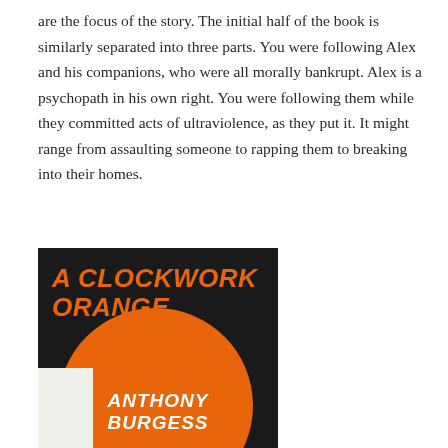are the focus of the story. The initial half of the book is similarly separated into three parts. You were following Alex and his companions, who were all morally bankrupt. Alex is a psychopath in his own right. You were following them while they committed acts of ultraviolence, as they put it. It might range from assaulting someone to rapping them to breaking into their homes.
[Figure (illustration): Book cover of 'A Clockwork Orange' by Anthony Burgess. Dark background with large orange italic bold text title at top left, a large orange circle in the lower portion, and 'ANTHONY BURGESS' in white bold italic text at the bottom center. A small white/cream rectangle in the bottom left corner.]